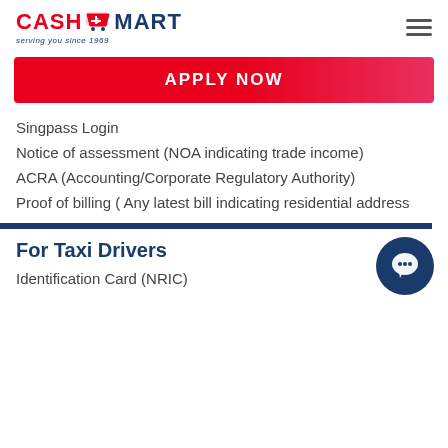[Figure (logo): Cash Mart logo with shopping cart icon and tagline 'serving you since 1969']
APPLY NOW
Singpass Login
Notice of assessment (NOA indicating trade income)
ACRA (Accounting/Corporate Regulatory Authority)
Proof of billing ( Any latest bill indicating residential address
For Taxi Drivers
Identification Card (NRIC)